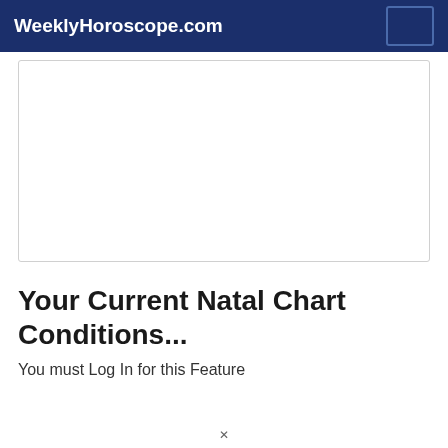WeeklyHoroscope.com
[Figure (other): Advertisement placeholder box, white with light gray border]
Your Current Natal Chart Conditions...
You must Log In for this Feature